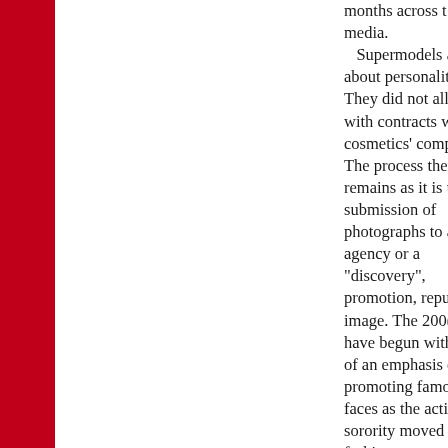[Figure (other): Red vertical bar on the left side of the page]
months across the media. Supermodels are about personality. They did not all start with contracts with cosmetics' companies. The process therefore remains as it is the submission of photographs to an agency or a "discovery", promotion, reputation, image. The 2000s have begun with more of an emphasis on promoting famous faces as the acting sorority moved into fashion as spokeswomen, but there is no denying that some names such as Hickman are centre t